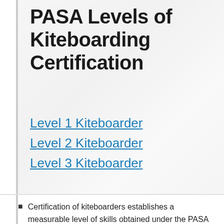PASA Levels of Kiteboarding Certification
Level 1 Kiteboarder
Level 2 Kiteboarder
Level 3 Kiteboarder
Certification of kiteboarders establishes a measurable level of skills obtained under the PASA guidelines.